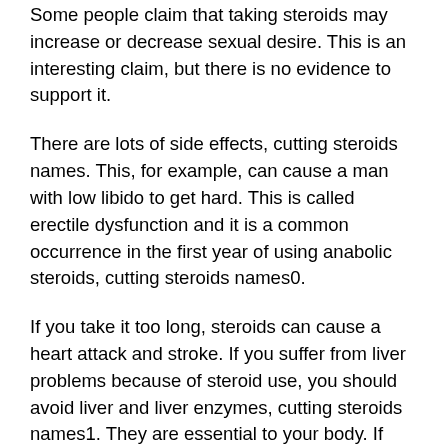Some people claim that taking steroids may increase or decrease sexual desire. This is an interesting claim, but there is no evidence to support it.
There are lots of side effects, cutting steroids names. This, for example, can cause a man with low libido to get hard. This is called erectile dysfunction and it is a common occurrence in the first year of using anabolic steroids, cutting steroids names0.
If you take it too long, steroids can cause a heart attack and stroke. If you suffer from liver problems because of steroid use, you should avoid liver and liver enzymes, cutting steroids names1. They are essential to your body. If you take too many steroids, you can also build up liver protein levels that can be fatal, and then die.
There is also a possibility that low